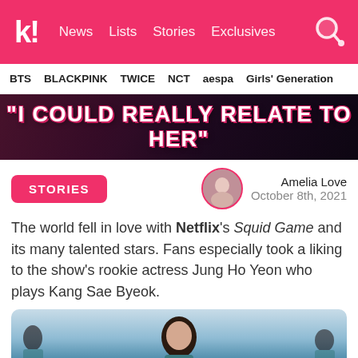k! News Lists Stories Exclusives
BTS BLACKPINK TWICE NCT aespa Girls' Generation
[Figure (photo): Hero banner image with dark background and pink text overlay reading: "I COULD REALLY RELATE TO HER"]
STORIES
Amelia Love
October 8th, 2021
The world fell in love with Netflix's Squid Game and its many talented stars. Fans especially took a liking to the show's rookie actress Jung Ho Yeon who plays Kang Sae Byeok.
[Figure (photo): A still from Squid Game showing a person in teal outfit with other players blurred in the background]